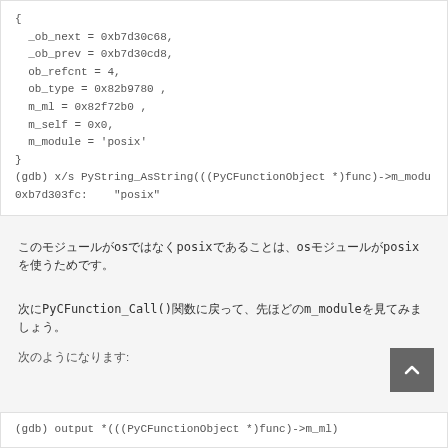{
  _ob_next = 0xb7d30c68,
  _ob_prev = 0xb7d30cd8,
  ob_refcnt = 4,
  ob_type = 0x82b9780 ,
  m_ml = 0x82f72b0 ,
  m_self = 0x0,
  m_module = 'posix'
}
(gdb) x/s PyString_AsString(((PyCFunctionObject *)func)->m_modu
0xb7d303fc:    "posix"
このモジュールがosではなくposixであることは、osモジュールがposixを使うためです。
次にPyCFunction_Call()関数に戻って、先ほどのm_moduleを見てみましょう。
次のようになります:
(gdb) output *(((PyCFunctionObject *)func)->m_ml)